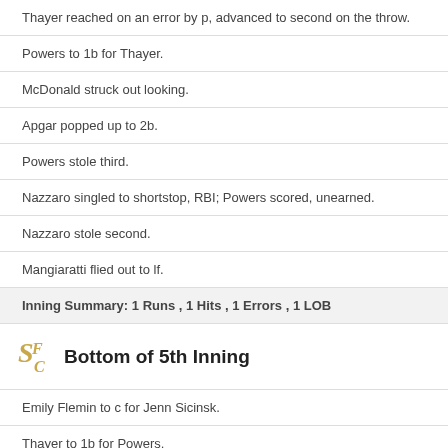Thayer reached on an error by p, advanced to second on the throw.
Powers to 1b for Thayer.
McDonald struck out looking.
Apgar popped up to 2b.
Powers stole third.
Nazzaro singled to shortstop, RBI; Powers scored, unearned.
Nazzaro stole second.
Mangiaratti flied out to lf.
Inning Summary: 1 Runs , 1 Hits , 1 Errors , 1 LOB
Bottom of 5th Inning
Emily Flemin to c for Jenn Sicinsk.
Thayer to 1b for Powers.